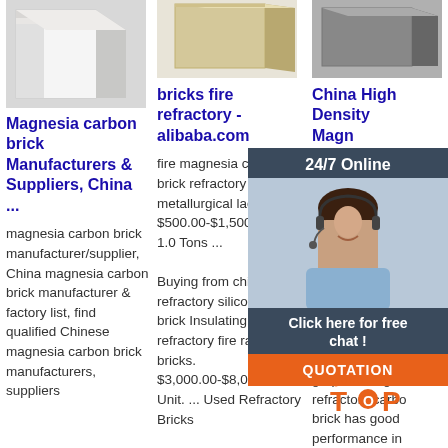[Figure (photo): White refractory brick / block product photo]
Magnesia carbon brick Manufacturers & Suppliers, China ...
magnesia carbon brick manufacturer/supplier, China magnesia carbon brick manufacturer & factory list, find qualified Chinese magnesia carbon brick manufacturers, suppliers
bricks fire refractory - alibaba.com
fire magnesia carbon brick refractory for metallurgical ladles. $500.00-$1,500.00 Ton. 1.0 Tons ... Buying from china refractory silicon carbide brick Insulating refractory fire rated bricks. $3,000.00-$8,000.00 Unit. ... Used Refractory Bricks
China High Density Magnesia Refractory Fire B...
Product Description Magnesia refractory brick is bonded made  burned, fused magnesia and graphite.Magnesia refractory carbo brick has good performance in the...
[Figure (photo): 24/7 Online chat widget with customer service representative photo, Click here for free chat button, and QUOTATION button]
[Figure (logo): TOP logo with orange dots/circles]